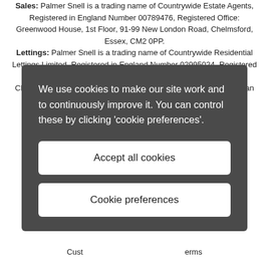Sales: Palmer Snell is a trading name of Countrywide Estate Agents, Registered in England Number 00789476, Registered Office: Greenwood House, 1st Floor, 91-99 New London Road, Chelmsford, Essex, CM2 0PP. Lettings: Palmer Snell is a trading name of Countrywide Residential Lettings Limited, Registered in England Number 02995024, Registered Office: Greenwood House, 1st Floor, 91-99 New London Road, Chelmsford, Essex, CM2 0PP. Countrywide Residential Lettings is an agent and subsidiary of ... Palmer ... N ... repr ... ised
We use cookies to make our site work and to continuously improve it. You can control these by clicking 'cookie preferences'.
Accept all cookies
Cookie preferences